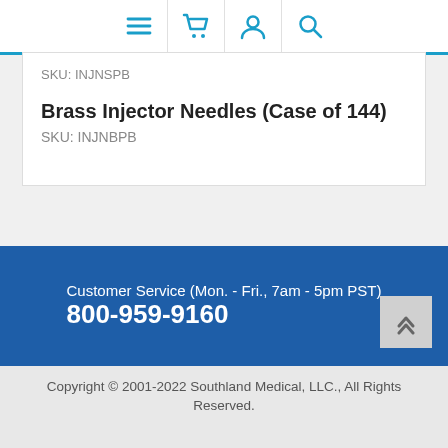Navigation bar with menu, cart, account, and search icons
SKU: INJNSPB
Brass Injector Needles (Case of 144)
SKU: INJNBPB
Customer Service (Mon. - Fri., 7am - 5pm PST)
800-959-9160
Copyright © 2001-2022 Southland Medical, LLC., All Rights Reserved.